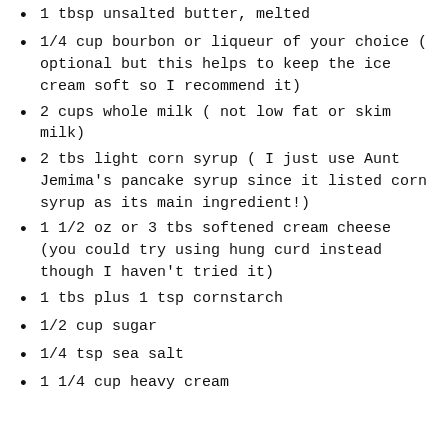1 tbsp unsalted butter, melted
1/4 cup bourbon or liqueur of your choice ( optional but this helps to keep the ice cream soft so I recommend it)
2 cups whole milk ( not low fat or skim milk)
2 tbs light corn syrup ( I just use Aunt Jemima's pancake syrup since it listed corn syrup as its main ingredient!)
1 1/2 oz or 3 tbs softened cream cheese (you could try using hung curd instead though I haven't tried it)
1 tbs plus 1 tsp cornstarch
1/2 cup sugar
1/4 tsp sea salt
1 1/4 cup heavy cream